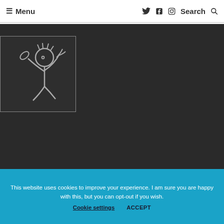☰ Menu   🐦 𝔽 ○  Search 🔍
[Figure (illustration): Stick figure drawing of a child with arms raised, drawn with light gray lines on a dark gray background, inside a bordered rectangle]
This website uses cookies to improve your experience. I am sure you are happy with this, but you can opt-out if you wish.   Cookie settings   ACCEPT